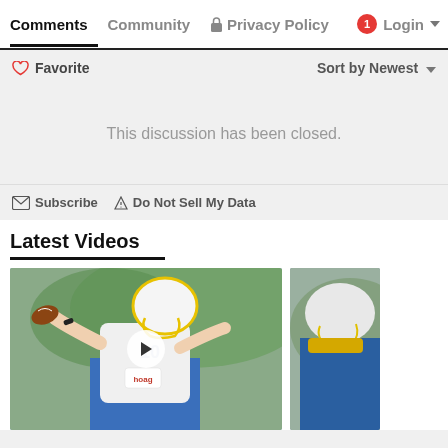Comments  Community  Privacy Policy  Login
Favorite  Sort by Newest
This discussion has been closed.
Subscribe  Do Not Sell My Data
Latest Videos
[Figure (photo): Football player wearing white Chargers uniform and yellow-trimmed white helmet, throwing a football during practice. Second partial image of a player in blue uniform visible at right.]